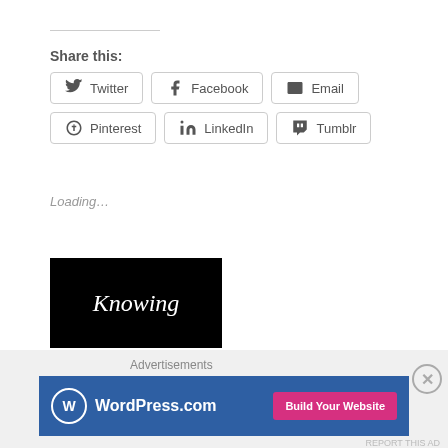Share this:
[Figure (screenshot): Row of social share buttons: Twitter, Facebook, Email, Pinterest, LinkedIn, Tumblr]
Loading…
[Figure (illustration): Black rectangle with white italic text 'Knowing']
December 12, 2012.
Reading time less than 1 minute.
Advertisements
[Figure (screenshot): WordPress.com advertisement banner with 'Build Your Website' button]